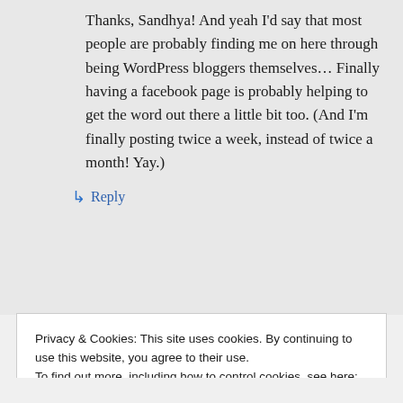Thanks, Sandhya! And yeah I'd say that most people are probably finding me on here through being WordPress bloggers themselves… Finally having a facebook page is probably helping to get the word out there a little bit too. (And I'm finally posting twice a week, instead of twice a month! Yay.)
↳ Reply
Privacy & Cookies: This site uses cookies. By continuing to use this website, you agree to their use.
To find out more, including how to control cookies, see here: Cookie Policy
Close and accept